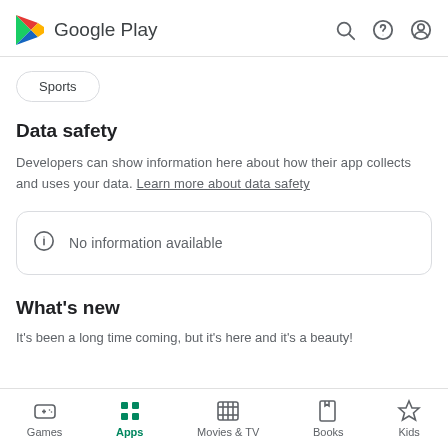Google Play
Sports
Data safety
Developers can show information here about how their app collects and uses your data. Learn more about data safety
No information available
What's new
It's been a long time coming, but it's here and it's a beauty!
Games  Apps  Movies & TV  Books  Kids